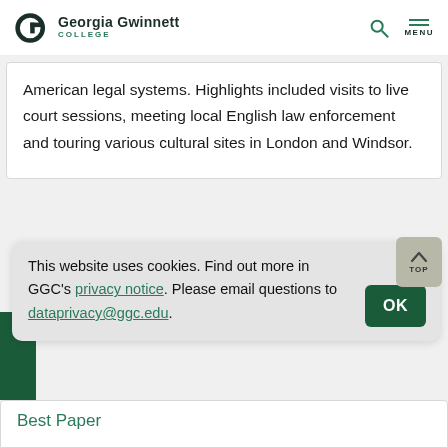Georgia Gwinnett College
American legal systems. Highlights included visits to live court sessions, meeting local English law enforcement and touring various cultural sites in London and Windsor.
This website uses cookies. Find out more in GGC's privacy notice. Please email questions to dataprivacy@ggc.edu.
Best Paper